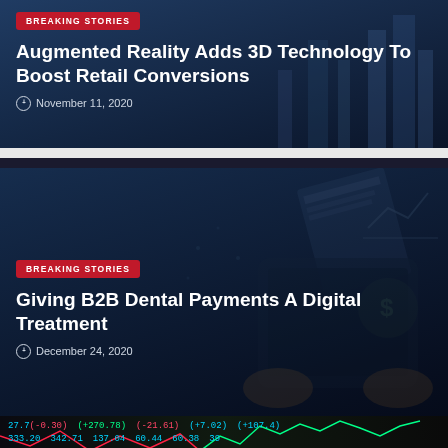[Figure (photo): Dark blue city skyline background with financial theme for first breaking stories card]
BREAKING STORIES
Augmented Reality Adds 3D Technology To Boost Retail Conversions
November 11, 2020
[Figure (photo): Dark blue news and financial payments digital background for second breaking stories card, showing newspaper, tablet, and financial icons]
BREAKING STORIES
Giving B2B Dental Payments A Digital Treatment
December 24, 2020
[Figure (photo): Stock market data display with colorful ticker numbers and chart lines in green and red, partially visible third card]